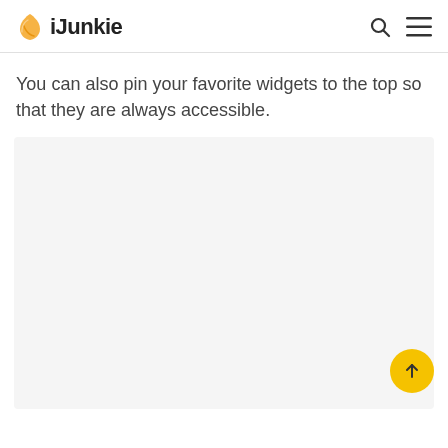iJunkie
You can also pin your favorite widgets to the top so that they are always accessible.
[Figure (screenshot): A light gray placeholder image area, approximately a screenshot region of a mobile app interface.]